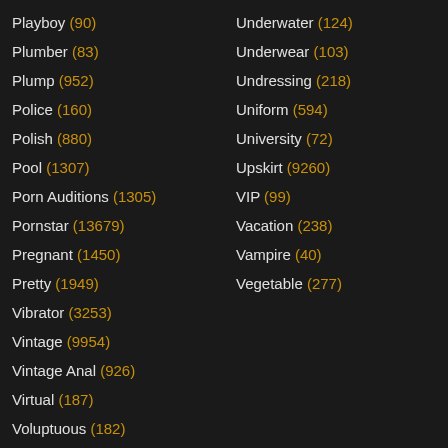Playboy (90)
Plumber (83)
Plump (952)
Police (160)
Polish (880)
Pool (1307)
Porn Auditions (1305)
Pornstar (13679)
Pregnant (1450)
Pretty (1949)
Underwater (124)
Underwear (103)
Undressing (218)
Uniform (594)
University (72)
Upskirt (9260)
VIP (99)
Vacation (238)
Vampire (40)
Vegetable (277)
Vibrator (3253)
Vintage (9954)
Vintage Anal (926)
Virtual (187)
Voluptuous (182)